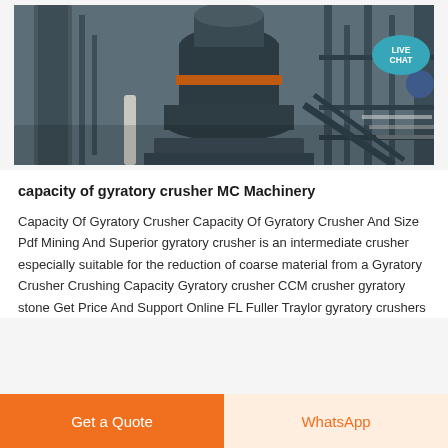[Figure (photo): Industrial gyratory crusher machinery in a processing plant, showing large cylindrical crusher with orange band, metal framework, pipes and conveyor structures. A 'LIVE CHAT' bubble is overlaid in the top-right corner.]
capacity of gyratory crusher MC Machinery
Capacity Of Gyratory Crusher Capacity Of Gyratory Crusher And Size Pdf Mining And Superior gyratory crusher is an intermediate crusher especially suitable for the reduction of coarse material from a Gyratory Crusher Crushing Capacity Gyratory crusher CCM crusher gyratory stone Get Price And Support Online FL Fuller Traylor gyratory crushers